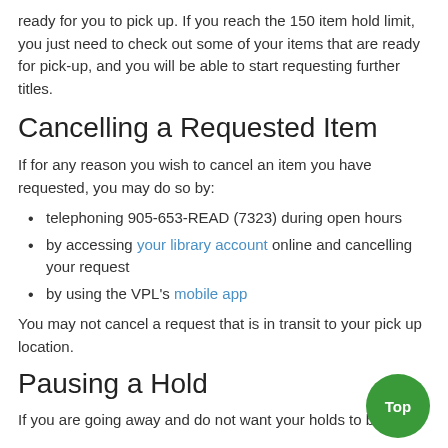ready for you to pick up. If you reach the 150 item hold limit, you just need to check out some of your items that are ready for pick-up, and you will be able to start requesting further titles.
Cancelling a Requested Item
If for any reason you wish to cancel an item you have requested, you may do so by:
telephoning 905-653-READ (7323) during open hours
by accessing your library account online and cancelling your request
by using the VPL's mobile app
You may not cancel a request that is in transit to your pick up location.
Pausing a Hold
If you are going away and do not want your holds to become